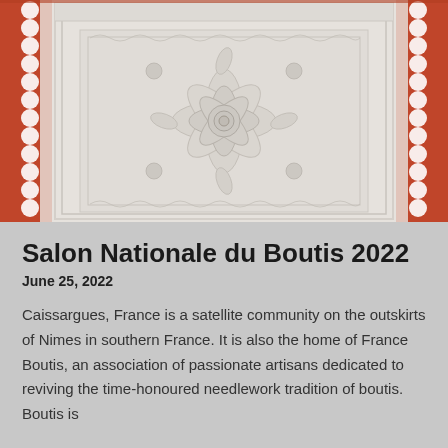[Figure (photo): A white boutis (Provençal quilted textile) with intricate floral and geometric relief embroidery patterns, displayed against a red/orange background with scalloped white border edges visible on the sides.]
Salon Nationale du Boutis 2022
June 25, 2022
Caissargues, France is a satellite community on the outskirts of Nimes in southern France. It is also the home of France Boutis, an association of passionate artisans dedicated to reviving the time-honoured needlework tradition of boutis. Boutis is